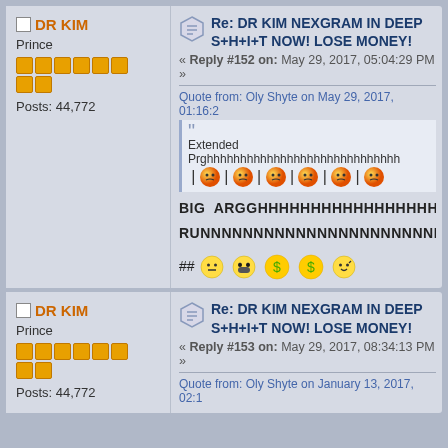DR KIM — Prince — Posts: 44,772
Re: DR KIM NEXGRAM IN DEEP S+H+I+T NOW! LOSE MONEY!
« Reply #152 on: May 29, 2017, 05:04:29 PM »
Quote from: Oly Shyte on May 29, 2017, 01:16:2
Extended Prghhhhhhhhhhhhhhhhhhhhhhhhhhhhh
BIG ARGGHHHHHHHHHHHHHHHHHHHHHH
RUNNNNNNNNNNNNNNNNNNNNNNNNNN
## [emoji] [emoji] [emoji] [emoji] [emoji]
DR KIM — Prince — Posts: 44,772
Re: DR KIM NEXGRAM IN DEEP S+H+I+T NOW! LOSE MONEY!
« Reply #153 on: May 29, 2017, 08:34:13 PM »
Quote from: Oly Shyte on January 13, 2017, 02:1